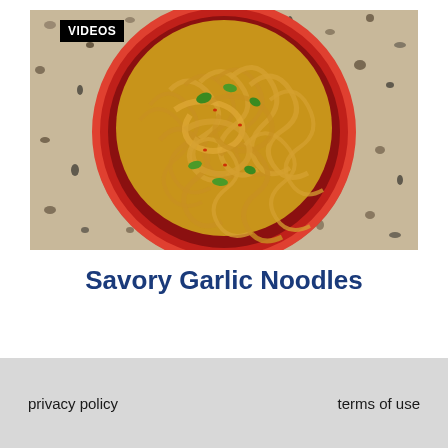[Figure (photo): Overhead view of a red bowl filled with garlic noodles garnished with green herbs, placed on a granite countertop]
Savory Garlic Noodles
privacy policy     terms of use